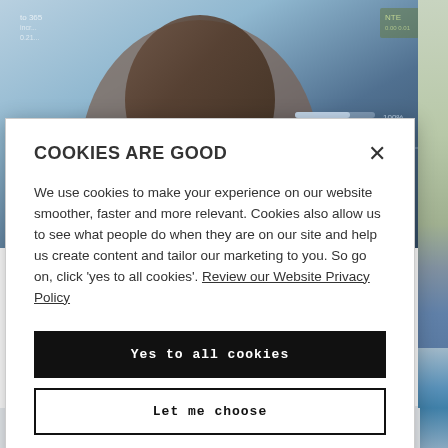[Figure (screenshot): Background showing a man in a light blue hoodie with digital HUD overlay elements, financial data charts partially visible]
COOKIES ARE GOOD
We use cookies to make your experience on our website smoother, faster and more relevant. Cookies also allow us to see what people do when they are on our site and help us create content and tailor our marketing to you. So go on, click 'yes to all cookies'. Review our Website Privacy Policy
Yes to all cookies
Let me choose